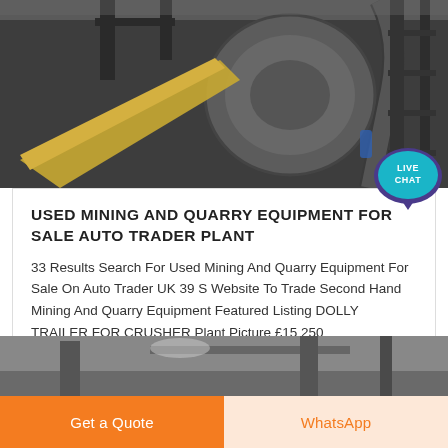[Figure (photo): Industrial mining or quarry equipment machinery photo — large metal rollers, conveyors, and structural steel in a factory/plant setting]
[Figure (other): Live Chat speech bubble icon — teal/purple bubble with text LIVE CHAT]
USED MINING AND QUARRY EQUIPMENT FOR SALE AUTO TRADER PLANT
33 Results Search For Used Mining And Quarry Equipment For Sale On Auto Trader UK 39 S Website To Trade Second Hand Mining And Quarry Equipment Featured Listing DOLLY TRAILER FOR CRUSHER Plant Picture £15 250
[Figure (photo): Partial photo of industrial plant/mining equipment interior, visible at bottom of content area]
Get a Quote
WhatsApp